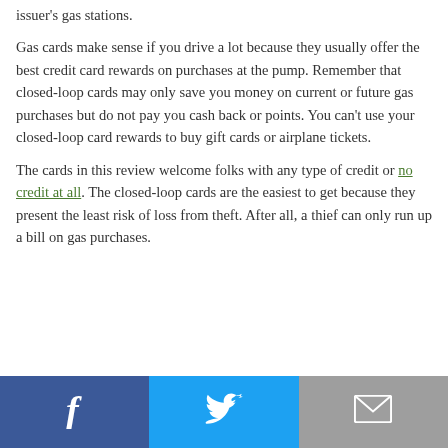issuer's gas stations.
Gas cards make sense if you drive a lot because they usually offer the best credit card rewards on purchases at the pump. Remember that closed-loop cards may only save you money on current or future gas purchases but do not pay you cash back or points. You can't use your closed-loop card rewards to buy gift cards or airplane tickets.
The cards in this review welcome folks with any type of credit or no credit at all. The closed-loop cards are the easiest to get because they present the least risk of loss from theft. After all, a thief can only run up a bill on gas purchases.
[Figure (other): Social share bar with Facebook, Twitter, and Email buttons at the bottom of the page]